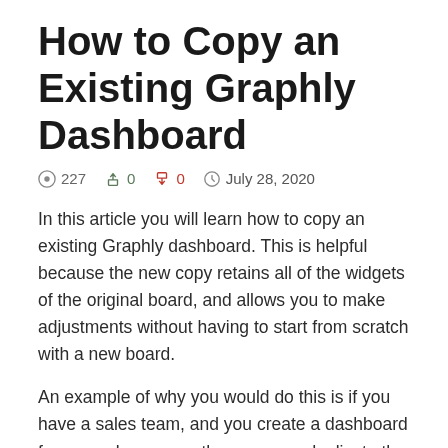How to Copy an Existing Graphly Dashboard
227  0  0  July 28, 2020
In this article you will learn how to copy an existing Graphly dashboard. This is helpful because the new copy retains all of the widgets of the original board, and allows you to make adjustments without having to start from scratch with a new board.
An example of why you would do this is if you have a sales team, and you create a dashboard for one salesperson, then you can duplicate the board and to use on other members.